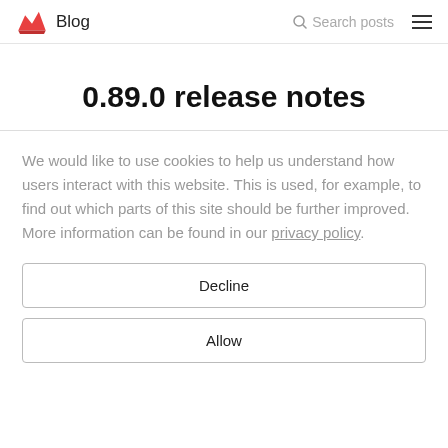Blog  Search posts
0.89.0 release notes
We would like to use cookies to help us understand how users interact with this website. This is used, for example, to find out which parts of this site should be further improved. More information can be found in our privacy policy.
Decline
Allow